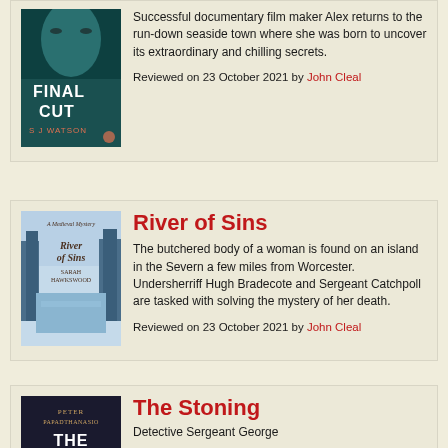[Figure (photo): Book cover of Final Cut by S J Watson, dark teal with a woman's face]
Successful documentary film maker Alex returns to the run-down seaside town where she was born to uncover its extraordinary and chilling secrets.
Reviewed on 23 October 2021 by John Cleal
River of Sins
[Figure (photo): Book cover of River of Sins by Sarah Hawkswood, light blue with forest and river illustration]
The butchered body of a woman is found on an island in the Severn a few miles from Worcester. Undersherriff Hugh Bradecote and Sergeant Catchpoll are tasked with solving the mystery of her death.
Reviewed on 23 October 2021 by John Cleal
The Stoning
[Figure (photo): Book cover of The Stoning by Peter Papathanasiou, dark background]
Detective Sergeant George